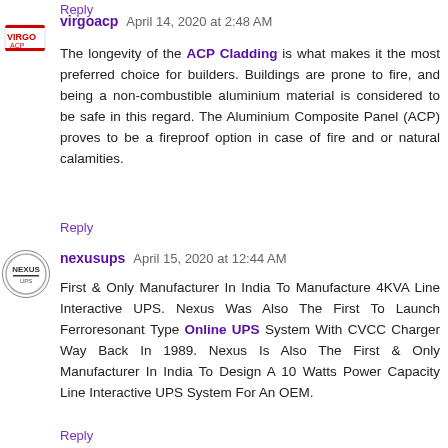Reply
virgoacp  April 14, 2020 at 2:48 AM
The longevity of the ACP Cladding is what makes it the most preferred choice for builders. Buildings are prone to fire, and being a non-combustible aluminium material is considered to be safe in this regard. The Aluminium Composite Panel (ACP) proves to be a fireproof option in case of fire and or natural calamities.
Reply
nexusups  April 15, 2020 at 12:44 AM
First & Only Manufacturer In India To Manufacture 4KVA Line Interactive UPS. Nexus Was Also The First To Launch Ferroresonant Type Online UPS System With CVCC Charger Way Back In 1989. Nexus Is Also The First & Only Manufacturer In India To Design A 10 Watts Power Capacity Line Interactive UPS System For An OEM.
Reply